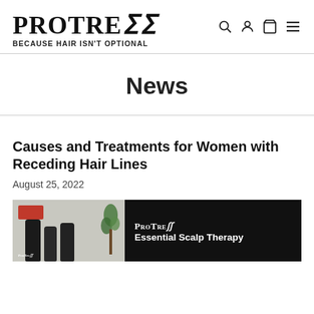ProTress — Because Hair Isn't Optional
News
Causes and Treatments for Women with Receding Hair Lines
August 25, 2022
[Figure (photo): ProTress Essential Scalp Therapy product bottles with plant in background, overlaid on dark banner]